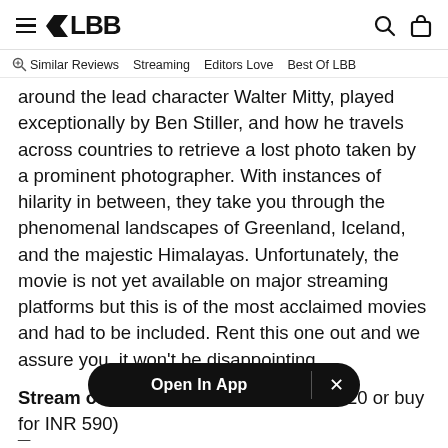LBB — Similar Reviews | Streaming | Editors Love | Best Of LBB
around the lead character Walter Mitty, played exceptionally by Ben Stiller, and how he travels across countries to retrieve a lost photo taken by a prominent photographer. With instances of hilarity in between, they take you through the phenomenal landscapes of Greenland, Iceland, and the majestic Himalayas. Unfortunately, the movie is not yet available on major streaming platforms but this is of the most acclaimed movies and had to be included. Rent this one out and we assure you, it won't be disappointing.
Stream on: You [Open In App overlay] for INR 120 or buy for INR 590)